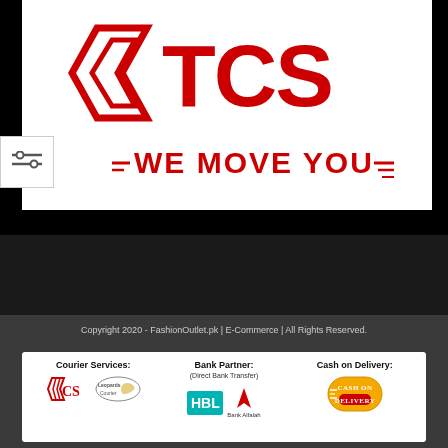[Figure (logo): TCS courier company logo with red stylized arrow/truck icon and text 'TCS' in bold red letters, tagline 'WE MOVE YOU' with speed lines]
Copyright 2020 - FashionOutlet.pk | E-Commerce | All Rights Reserved.
[Figure (infographic): Footer partners panel showing: Courier Services (TCS logo, Leopards Courier logo), Bank Partner: Direct Bank Transfer (HBL logo, Bank Alfalah logo), Cash on Delivery badge]